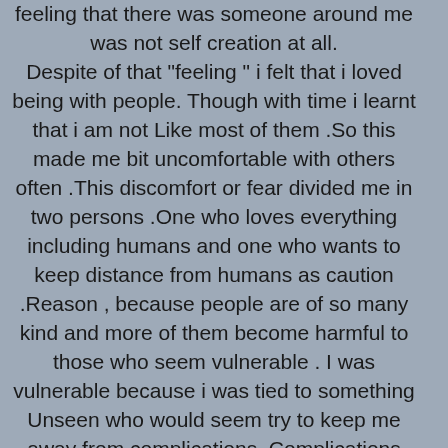feeling that there was someone around me was not self creation at all. Despite of that "feeling " i felt that i loved being with people. Though with time i learnt that i am not Like most of them .So this made me bit uncomfortable with others often .This discomfort or fear divided me in two persons .One who loves everything including humans and one who wants to keep distance from humans as caution .Reason , because people are of so many kind and more of them become harmful to those who seem vulnerable . I was vulnerable because i was tied to something Unseen who would seem try to keep me away from complications. Complications that began when we fail to keep balance between spiritual and physical world .Complications that began when we become selfish and forget that OTHERS TOO ARE HUMANS LIKE US AND FEEL THE SAME PAIN AS WE DO WHEN THORN HITS. Complications that began when we forget that One who has created us